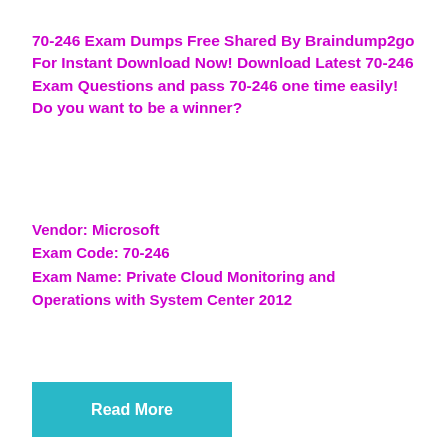70-246 Exam Dumps Free Shared By Braindump2go For Instant Download Now! Download Latest 70-246 Exam Questions and pass 70-246 one time easily! Do you want to be a winner?
Vendor: Microsoft
Exam Code: 70-246
Exam Name: Private Cloud Monitoring and Operations with System Center 2012
[Figure (other): Teal/cyan rectangular button labeled 'Read More']
Braindump2go New